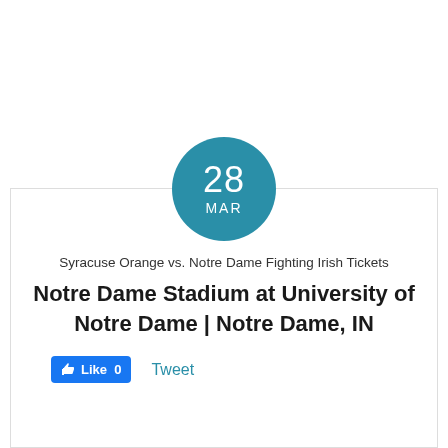[Figure (other): Teal circular date badge showing '28 MAR']
Syracuse Orange vs. Notre Dame Fighting Irish Tickets
Notre Dame Stadium at University of Notre Dame | Notre Dame, IN
Like 0   Tweet